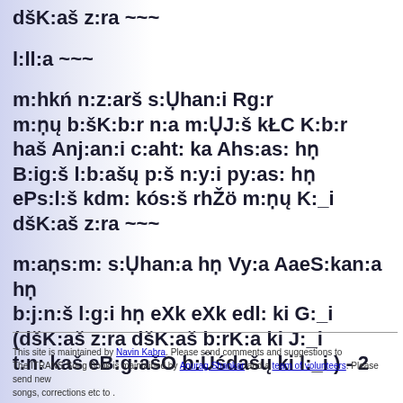dšK:aš z:ra ~~~
l:ll:a ~~~
m:hkń n:z:arš s:Ụhan:i Rg:r
m:ṇų b:šK:b:r n:a m:ỤJ:š kŁC K:b:r
haš Anj:an:i c:aht: ka Ahs:as: hṇ
B:ig:š l:b:ašų p:š n:y:i py:as: hṇ
ePs:l:š kdm: kós:š rhŽö m:ṇų K:_i
dšK:aš z:ra ~~~
m:aṇs:m: s:Ụhan:a hṇ Vy:a AaeS:kan:a hṇ
b:j:n:š l:g:i hṇ eXk eXk edl: ki G:_i
(dšK:aš z:ra dšK:aš b:rK:a ki J:_i
t:n: kaš eB:g:ašO b:Üśdašų ki l:_i ) - 2
This site is maintained by Navin Kabra. Please send comments and suggestions to The ITRANS Song Book is maintained by Anurag Shankar and a team of volunteers. Please send new songs, corrections etc to .